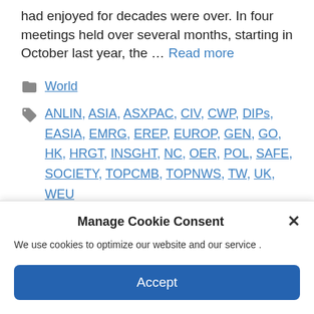had enjoyed for decades were over. In four meetings held over several months, starting in October last year, the … Read more
World
ANLIN, ASIA, ASXPAC, CIV, CWP, DIPs, EASIA, EMRG, EREP, EUROP, GEN, GO, HK, HRGT, INSGHT, NC, OER, POL, SAFE, SOCIETY, TOPCMB, TOPNWS, TW, UK, WEU
Leave a comment
Manage Cookie Consent
We use cookies to optimize our website and our service .
Accept